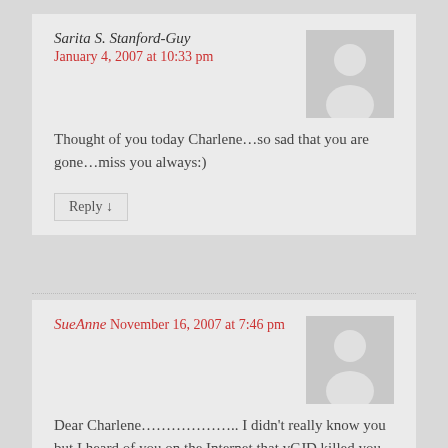Sarita S. Stanford-Guy
January 4, 2007 at 10:33 pm
Thought of you today Charlene…so sad that you are gone…miss you always:)
Reply ↓
SueAnne November 16, 2007 at 7:46 pm
Dear Charlene……………….. I didn't really know you but I heard of you on the Internet that vCJD killed you. So I hope you rest in